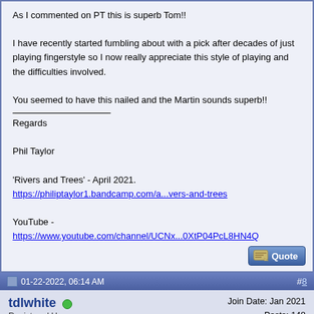As I commented on PT this is superb Tom!!

I have recently started fumbling about with a pick after decades of just playing fingerstyle so I now really appreciate this style of playing and the difficulties involved.

You seemed to have this nailed and the Martin sounds superb!!

Regards

Phil Taylor

'Rivers and Trees' - April 2021.
https://philiptaylor1.bandcamp.com/a...vers-and-trees

YouTube -
https://www.youtube.com/channel/UCNx...0XtP04PcL8HN4Q
01-22-2022, 06:14 AM   #8
tdlwhite
Registered User
Join Date: Jan 2021
Posts: 148
Quote:
Originally Posted by UKPhil